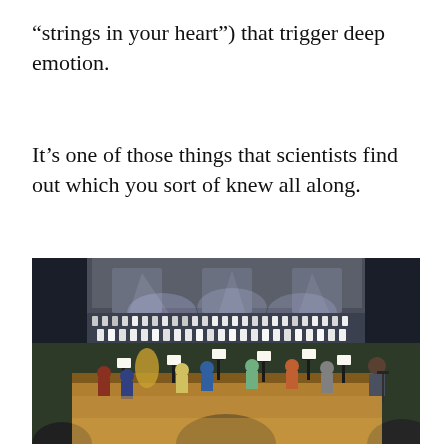“strings in your heart”) that trigger deep emotion.
It’s one of those things that scientists find out which you sort of knew all along.
[Figure (photo): Orchestral rehearsal hall with a large orchestra seated in the foreground with music stands, and a choir standing in rows in the background on a stage. The hall has dark walls, theatrical lighting, and a conductor visible at the right.]